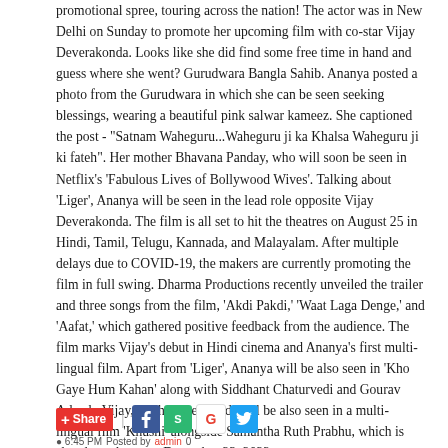promotional spree, touring across the nation! The actor was in New Delhi on Sunday to promote her upcoming film with co-star Vijay Deverakonda. Looks like she did find some free time in hand and guess where she went? Gurudwara Bangla Sahib. Ananya posted a photo from the Gurudwara in which she can be seen seeking blessings, wearing a beautiful pink salwar kameez. She captioned the post - "Satnam Waheguru...Waheguru ji ka Khalsa Waheguru ji ki fateh". Her mother Bhavana Panday, who will soon be seen in Netflix's 'Fabulous Lives of Bollywood Wives'. Talking about 'Liger', Ananya will be seen in the lead role opposite Vijay Deverakonda. The film is all set to hit the theatres on August 25 in Hindi, Tamil, Telugu, Kannada, and Malayalam. After multiple delays due to COVID-19, the makers are currently promoting the film in full swing. Dharma Productions recently unveiled the trailer and three songs from the film, 'Akdi Pakdi,' 'Waat Laga Denge,' and 'Aafat,' which gathered positive feedback from the audience. The film marks Vijay's debut in Hindi cinema and Ananya's first multi-lingual film. Apart from 'Liger', Ananya will be also seen in 'Kho Gaye Hum Kahan' along with Siddhant Chaturvedi and Gourav Adarsh. Vijay, on the other hand, will be also seen in a multi-lingual film 'Khushi' alongside Samantha Ruth Prabhu, which is slated to release on December 23, 2022.